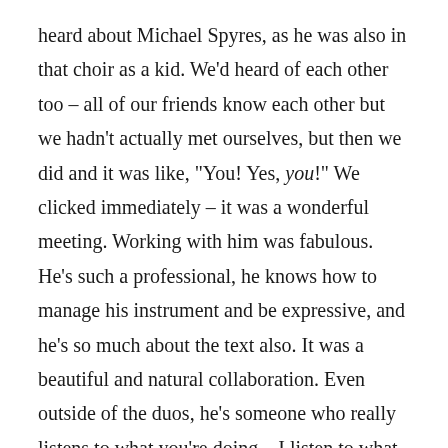heard about Michael Spyres, as he was also in that choir as a kid. We'd heard of each other too – all of our friends know each other but we hadn't actually met ourselves, but then we did and it was like, "You! Yes, you!" We clicked immediately – it was a wonderful meeting. Working with him was fabulous. He's such a professional, he knows how to manage his instrument and be expressive, and he's so much about the text also. It was a beautiful and natural collaboration. Even outside of the duos, he's someone who really listens to what you're doing – I listen to what he's doing also. The first time we did a run-through, we did it one way; the second time was comp different because we were listening to each other so intently, so we felt good to make changes already. He's a wonderful colleague. I